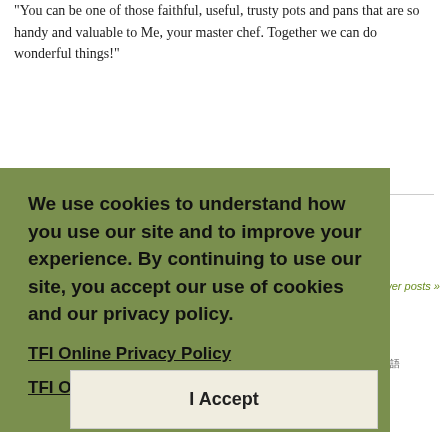“You can be one of those faithful, useful, trusty pots and pans that are so handy and valuable to Me, your master chef. Together we can do wonderful things!”
1 Romans 8:1.
We use cookies to understand how you use our site and to improve your experience. By continuing to use our site, you accept our use of cookies and our privacy policy.
TFI Online Privacy Policy
TFI Online Cookie Policy
« older posts
newer posts »
Subscribe | RSS • | Español | | Português | Italiano | Français | 日本語
Copyright © 2022 The Family International | Privacy Policy | Cookie Policy | design by DDS – Design Pro Business
I Accept